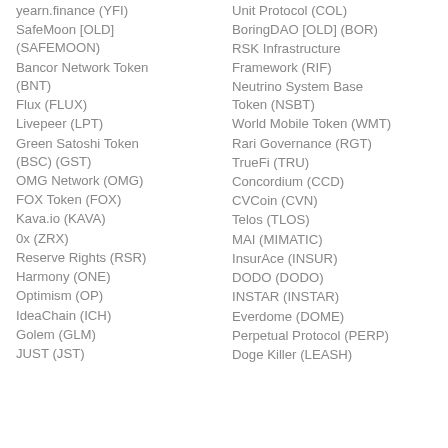yearn.finance (YFI)
SafeMoon [OLD] (SAFEMOON)
Bancor Network Token (BNT)
Flux (FLUX)
Livepeer (LPT)
Green Satoshi Token (BSC) (GST)
OMG Network (OMG)
FOX Token (FOX)
Kava.io (KAVA)
0x (ZRX)
Reserve Rights (RSR)
Harmony (ONE)
Optimism (OP)
IdeaChain (ICH)
Golem (GLM)
JUST (JST)
Unit Protocol (COL)
BoringDAO [OLD] (BOR)
RSK Infrastructure Framework (RIF)
Neutrino System Base Token (NSBT)
World Mobile Token (WMT)
Rari Governance (RGT)
TrueFi (TRU)
Concordium (CCD)
CVCoin (CVN)
Telos (TLOS)
MAI (MIMATIC)
InsurAce (INSUR)
DODO (DODO)
INSTAR (INSTAR)
Everdome (DOME)
Perpetual Protocol (PERP)
Doge Killer (LEASH)